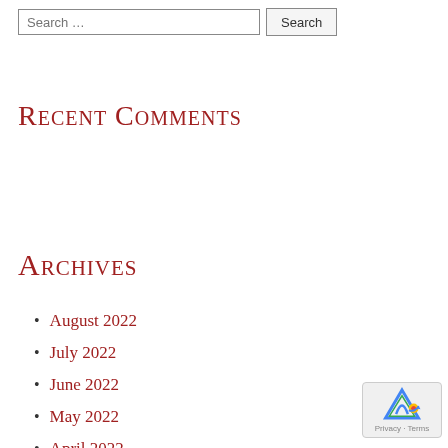Search ... [Search button]
Recent Comments
Archives
August 2022
July 2022
June 2022
May 2022
April 2022
March 2022
February 2022
[Figure (logo): reCAPTCHA badge with Privacy and Terms text]